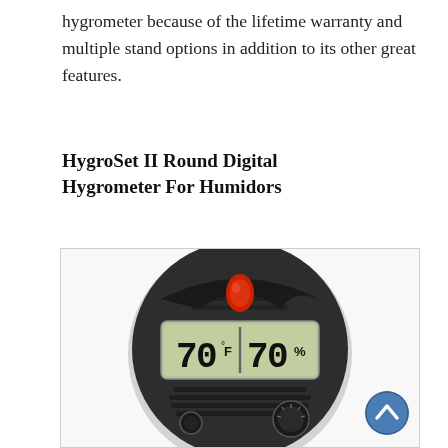hygrometer because of the lifetime warranty and multiple stand options in addition to its other great features.
HygroSet II Round Digital Hygrometer For Humidors
[Figure (photo): Photo of a HygroSet II Round Digital Hygrometer showing a circular dark device with a red button on top, a digital display reading 70°F and 70%, and a calibration dial on the lower right.]